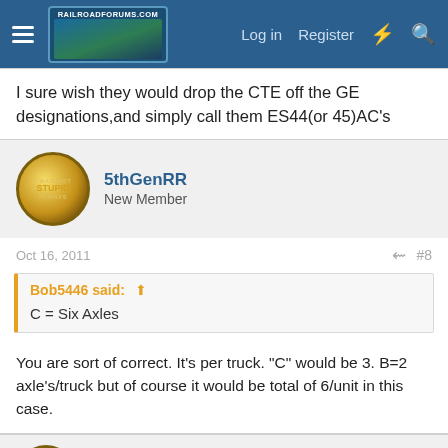RailroadForums.com — Log in  Register
I sure wish they would drop the CTE off the GE designations,and simply call them ES44(or 45)AC's
5thGenRR
New Member
Oct 16, 2011   #8
Bob5446 said: ↑
C = Six Axles
You are sort of correct. It's per truck. "C" would be 3. B=2 axle's/truck but of course it would be total of 6/unit in this case.
5thGenRR
New Member